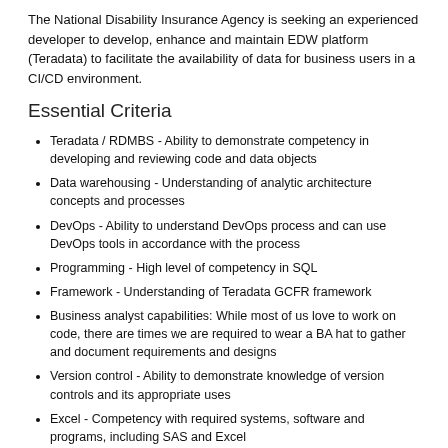The National Disability Insurance Agency is seeking an experienced developer to develop, enhance and maintain EDW platform (Teradata) to facilitate the availability of data for business users in a CI/CD environment.
Essential Criteria
Teradata / RDMBS - Ability to demonstrate competency in developing and reviewing code and data objects
Data warehousing - Understanding of analytic architecture concepts and processes
DevOps - Ability to understand DevOps process and can use DevOps tools in accordance with the process
Programming - High level of competency in SQL
Framework - Understanding of Teradata GCFR framework
Business analyst capabilities: While most of us love to work on code, there are times we are required to wear a BA hat to gather and document requirements and designs
Version control - Ability to demonstrate knowledge of version controls and its appropriate uses
Excel - Competency with required systems, software and programs, including SAS and Excel
Other - Ability to read and interpret data models and